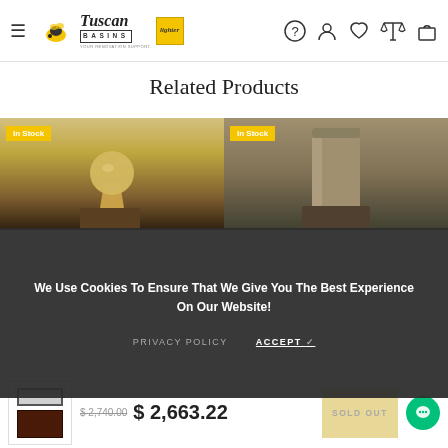Tuscan Basins - Navigation header with logo and icons
Related Products
[Figure (photo): Two product images side by side: left shows a stone ball fountain in yellow/tan tones with 'In Stock' badge, right shows a tall rectangular stone/cement column in dark brown tones with 'In Stock' badge]
We Use Cookies To Ensure That We Give You The Best Experience On Our Website!
PRIVACY POLICY    ACCEPT ✓
[Figure (photo): Product thumbnail showing a mirror above a dark wood cabinet/dresser]
$ 2,740.00  $ 2,663.22
SOLD OUT